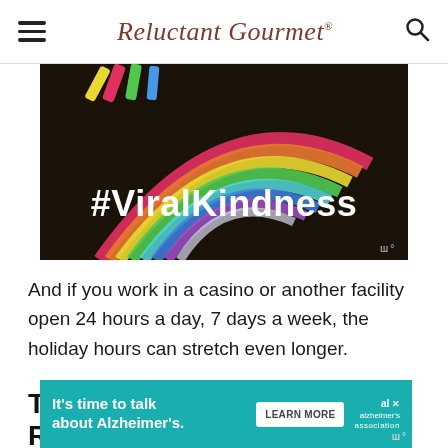Reluctant Gourmet
[Figure (photo): A dark soil/asphalt surface with colorful chalk rainbow drawing and text '#ViralKindness' written in white bold text overlay. Chalk pieces visible at top.]
And if you work in a casino or another facility open 24 hours a day, 7 days a week, the holiday hours can stretch even longer.
THE HOLIDAY SHIFT ROTATION
[Figure (infographic): Advertisement banner: 'It's time to talk about Alzheimer's.' with a Learn More button and Alzheimer's Association logo on teal background.]